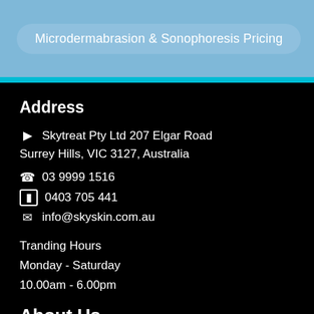Microdermabrasion & Sonophoresis Pricing
Address
Skytreat Pty Ltd 207 Elgar Road Surrey Hills, VIC 3127, Australia
03 9999 1516
0403 705 441
info@skyskin.com.au
Tranding Hours
Monday - Saturday
10.00am - 6.00pm
About Us